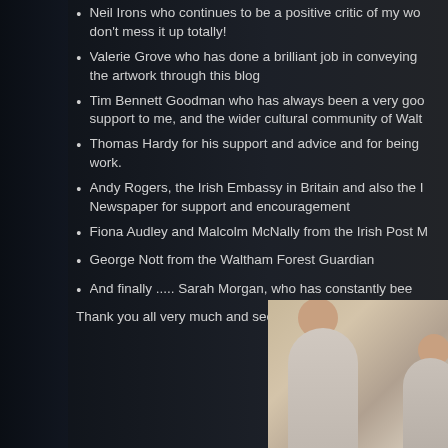Neil Irons who continues to be a positive critic of my wo... don't mess it up totally!
Valerie Grove who has done a brilliant job in conveying ... the artwork through this blog
Tim Bennett Goodman who has always been a very goo... support to me, and the wider cultural community of Walt...
Thomas Hardy for his support and advice and for being ... work.
Andy Rogers, the Irish Embassy in Britain and also the I... Newspaper for support and encouragement
Fiona Audley and Malcolm McNally from the Irish Post M...
George Nott from the Waltham Forest Guardian
And finally .....  Sarah Morgan, who has constantly bee...
Thank you all very much and see you tomorrow!
[Figure (photo): Two people, one taller and one shorter, viewed from behind, appearing to look at or work on something on a wall]